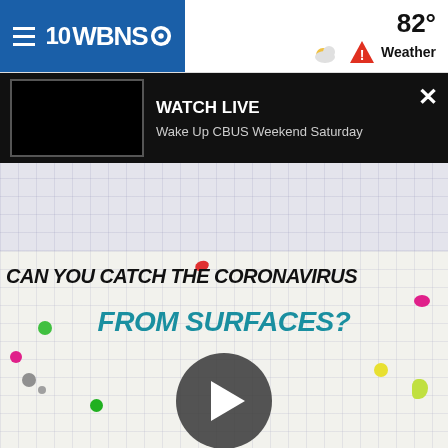10WBNS CBS — 82° Weather
WATCH LIVE — Wake Up CBUS Weekend Saturday
[Figure (screenshot): News website screenshot showing 10WBNS TV station header, Watch Live bar with video thumbnail, and a video graphic asking CAN YOU CATCH THE CORONAVIRUS FROM SURFACES?]
CAN YOU CATCH THE CORONAVIRUS FROM SURFACES?